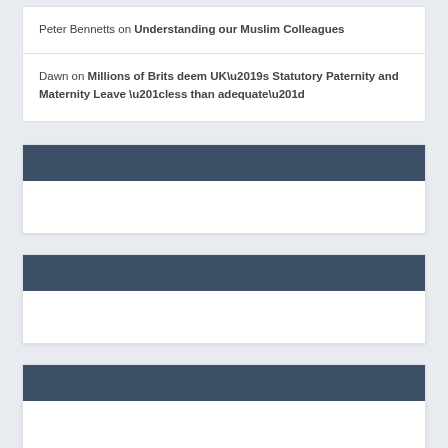Peter Bennetts on Understanding our Muslim Colleagues
Dawn on Millions of Brits deem UK’s Statutory Paternity and Maternity Leave “less than adequate”
[Figure (other): Widget block with dark blue-grey header bar and white body area]
[Figure (other): Widget block with dark blue-grey header bar and white body area]
[Figure (other): Widget block with dark blue-grey header bar and white body area (partially visible at bottom)]